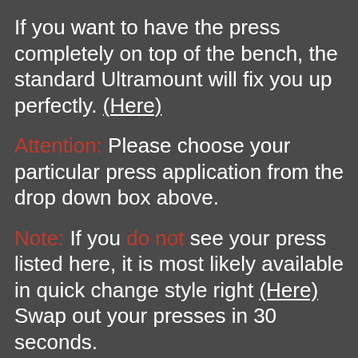If you want to have the press completely on top of the bench, the standard Ultramount will fix you up perfectly. (Here)
Attention: Please choose your particular press application from the drop down box above.
Note: If you do not see your press listed here, it is most likely available in quick change style right (Here) Swap out your presses in 30 seconds.